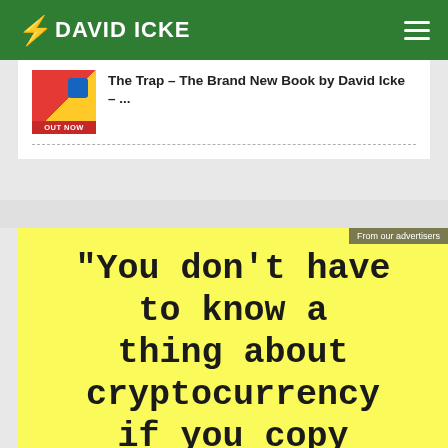DAVID ICKE
The Trap - The Brand New Book by David Icke – ...
[Figure (screenshot): Yellow advertisement banner with monospace bold text reading: "You don't have to know a thing about cryptocurrency if you copy"]
From our advertisers